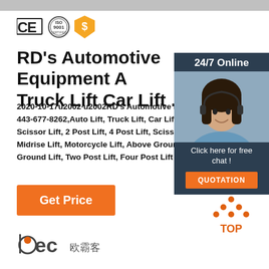[Figure (other): Top gray bar decorative element]
[Figure (logo): CE certification logo, ISO 9001 certification seal, and gold badge/dollar sign icon]
RD's Automotive Equipment A Truck Lift Car Lift ...
2020-10-17u2002·u2002RD's Automotive E 443-677-8262,Auto Lift, Truck Lift, Car Lift Scissor Lift, 2 Post Lift, 4 Post Lift, Scisso Midrise Lift, Motorcycle Lift, Above Groun Ground Lift, Two Post Lift, Four Post Lift
[Figure (photo): 24/7 Online customer service agent photo with headset, dark background panel with chat and quotation button]
Get Price
[Figure (logo): TOP back-to-top arrow icon in orange dots style]
[Figure (logo): bec 欧霸客 company logo]